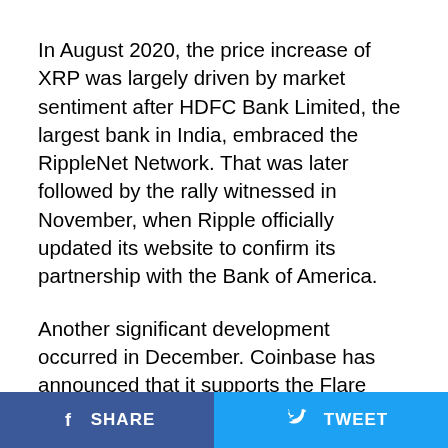In August 2020, the price increase of XRP was largely driven by market sentiment after HDFC Bank Limited, the largest bank in India, embraced the RippleNet Network. That was later followed by the rally witnessed in November, when Ripple officially updated its website to confirm its partnership with the Bank of America.
Another significant development occurred in December. Coinbase has announced that it supports the Flare network's Spark airdrop token. The news was good to the Ripple community because the airdrop provides smart contract functionality to XRP. Expectedly, the price of XRP rose after the news. The short-term rally was sustained because, like Coinbase, Binance has announced their support of
SHARE   TWEET   ...